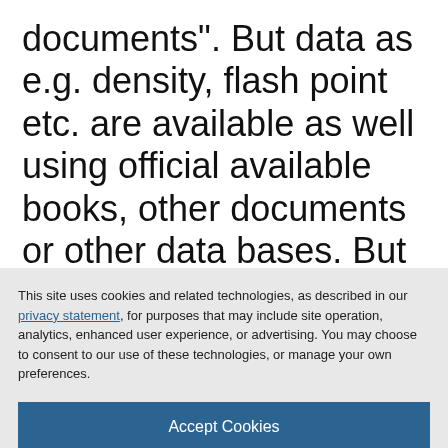documents". But data as e.g. density, flash point etc. are available as well using official available books, other documents or other data bases. But as well here we talk about only data which is specific to an e.g. CAS
This site uses cookies and related technologies, as described in our privacy statement, for purposes that may include site operation, analytics, enhanced user experience, or advertising. You may choose to consent to our use of these technologies, or manage your own preferences.
Accept Cookies
More Information
Privacy Policy | Powered by: TrustArc